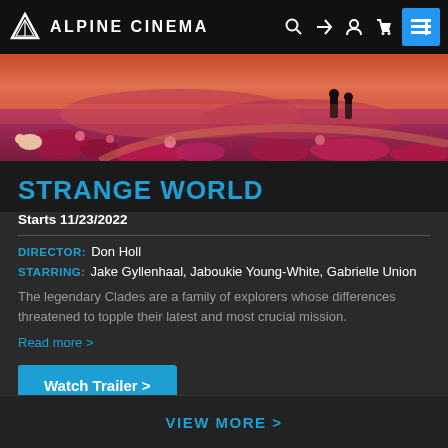ALPINE CINEMA
[Figure (photo): Movie still from Strange World showing an alien landscape with reddish/pink terrain and figures in the distance]
STRANGE WORLD
Starts 11/23/2022
DIRECTOR: Don Holl
STARRING: Jake Gyllenhaal, Jaboukie Young-White, Gabrielle Union
The legendary Clades are a family of explorers whose differences threatened to topple their latest and most crucial mission.
Read more >
Watch Trailer >
VIEW MORE >